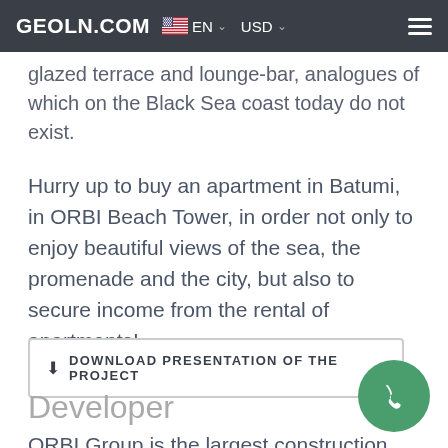GEOLN.COM  EN  USD
glazed terrace and lounge-bar, analogues of which on the Black Sea coast today do not exist.
Hurry up to buy an apartment in Batumi, in ORBI Beach Tower, in order not only to enjoy beautiful views of the sea, the promenade and the city, but also to secure income from the rental of apartments!
⬇ DOWNLOAD PRESENTATION OF THE PROJECT
Developer
ORBI Group is the largest construction and